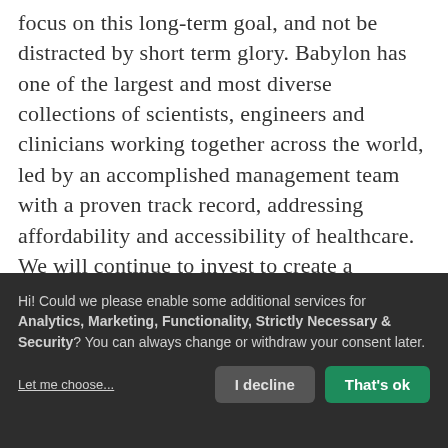focus on this long-term goal, and not be distracted by short term glory. Babylon has one of the largest and most diverse collections of scientists, engineers and clinicians working together across the world, led by an accomplished management team with a proven track record, addressing affordability and accessibility of healthcare. We will continue to invest to create a powerful and unique combination of our digital-first, AI-enabled, comprehensive clinical services that will in time transform every
Hi! Could we please enable some additional services for Analytics, Marketing, Functionality, Strictly Necessary & Security? You can always change or withdraw your consent later.
Let me choose...
I decline
That's ok